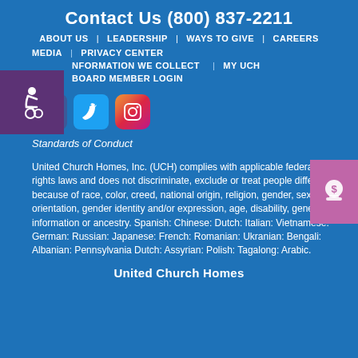Contact Us (800) 837-2211
ABOUT US | LEADERSHIP | WAYS TO GIVE | CAREERS
MEDIA | PRIVACY CENTER
INFORMATION WE COLLECT | MY UCH
BOARD MEMBER LOGIN
[Figure (logo): Accessibility wheelchair icon in purple box]
[Figure (logo): Donate dollar icon in pink/mauve box]
[Figure (logo): Facebook, Twitter, and Instagram social media icons]
Standards of Conduct
United Church Homes, Inc. (UCH) complies with applicable federal civil rights laws and does not discriminate, exclude or treat people different because of race, color, creed, national origin, religion, gender, sexual orientation, gender identity and/or expression, age, disability, genetic information or ancestry. Spanish: Chinese: Dutch: Italian: Vietnamese: German: Russian: Japanese: French: Romanian: Ukranian: Bengali: Albanian: Pennsylvania Dutch: Assyrian: Polish: Tagalong: Arabic.
United Church Homes